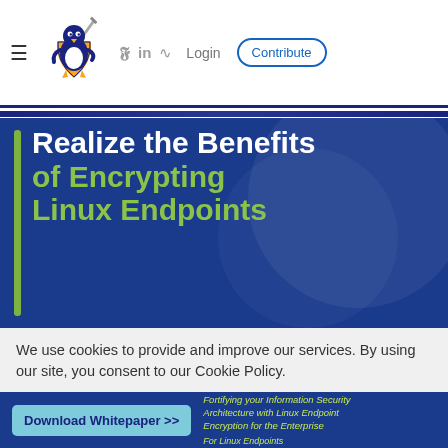Linux Security Expert — navigation bar with logo, Twitter, LinkedIn, RSS icons, Login, Contribute
Realize the Benefits of Encrypting Linux Endpoints
We use cookies to provide and improve our services. By using our site, you consent to our Cookie Policy.
Accept | Learn More About Our Cookie Policy
[Figure (screenshot): Bottom banner showing Download Whitepaper button and whitepaper cover text: Fortifying your Information Security Architecture with Linux Endpoint Encryption for the Enterprise — For Linux Endpoints]